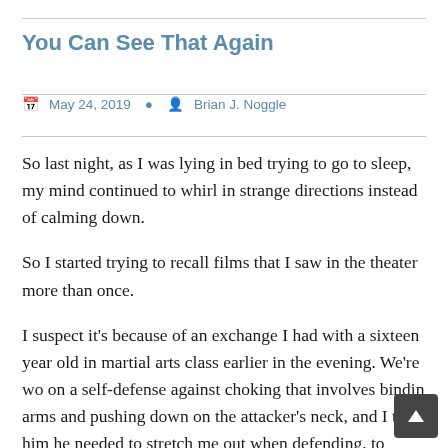You Can See That Again
May 24, 2019   Brian J. Noggle
So last night, as I was lying in bed trying to go to sleep, my mind continued to whirl in strange directions instead of calming down.
So I started trying to recall films that I saw in the theater more than once.
I suspect it’s because of an exchange I had with a sixteen year old in martial arts class earlier in the evening. We’re wo on a self-defense against choking that involves bindin arms and pushing down on the attacker’s neck, and I told him he needed to stretch me out when defending, to straighten